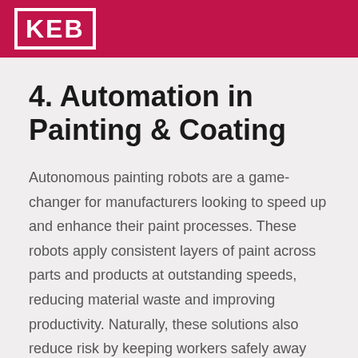KEB
4. Automation in Painting & Coating
Autonomous painting robots are a game-changer for manufacturers looking to speed up and enhance their paint processes. These robots apply consistent layers of paint across parts and products at outstanding speeds, reducing material waste and improving productivity. Naturally, these solutions also reduce risk by keeping workers safely away